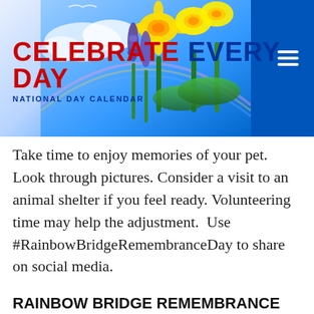CELEBRATE EVERY DAY | NATIONAL DAY CALENDAR
Take time to enjoy memories of your pet. Look through pictures. Consider a visit to an animal shelter if you feel ready. Volunteering time may help the adjustment.  Use #RainbowBridgeRemembranceDay to share on social media.
RAINBOW BRIDGE REMEMBRANCE DAY HISTORY
Deborah Barnes founded Rainbow Bridge Remembrance Day in honor of her cat, Mr. Jazz.